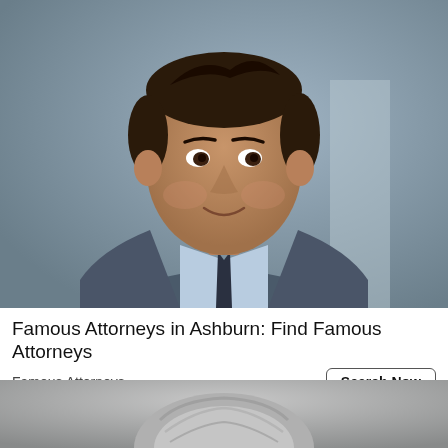[Figure (photo): Professional headshot of a young man wearing a grey suit, light blue shirt, and dark tie, smiling against a blurred grey background]
Famous Attorneys in Ashburn: Find Famous Attorneys
Famous Attorneys
[Figure (photo): Partial photo showing grey hair of an older person against a bokeh background]